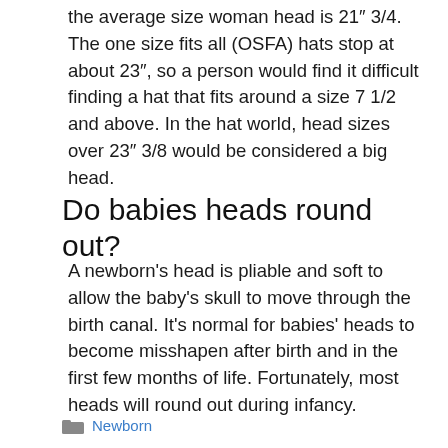the average size woman head is 21″ 3/4. The one size fits all (OSFA) hats stop at about 23″, so a person would find it difficult finding a hat that fits around a size 7 1/2 and above. In the hat world, head sizes over 23″ 3/8 would be considered a big head.
Do babies heads round out?
A newborn's head is pliable and soft to allow the baby's skull to move through the birth canal. It's normal for babies' heads to become misshapen after birth and in the first few months of life. Fortunately, most heads will round out during infancy.
Newborn